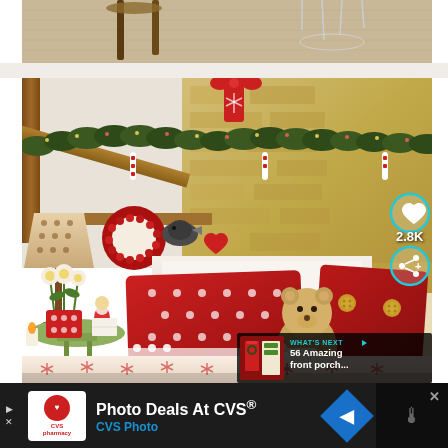[Figure (photo): Top portion of a room interior showing wooden chairs, a transparent pendant light, and a textured carpet/rug in beige and tan tones.]
[Figure (photo): Christmas-decorated bedroom in a rustic cottage with stone walls and wooden beams. Features a white upholstered headboard, red polka-dot pillows, a teddy bear, red berry wreath, garland along the beam, a spotted lamp, red polka-dot flowers in a mug, angel figurine, and festive red-and-white snowflake bedding. UI overlays show a heart button, 2.8K count, and a share button. A 'What's Next' panel previews '56 Amazing front porch...' with a small thumbnail.]
WHAT'S NEXT → 56 Amazing front porch...
Photo Deals At CVS® CVS Photo